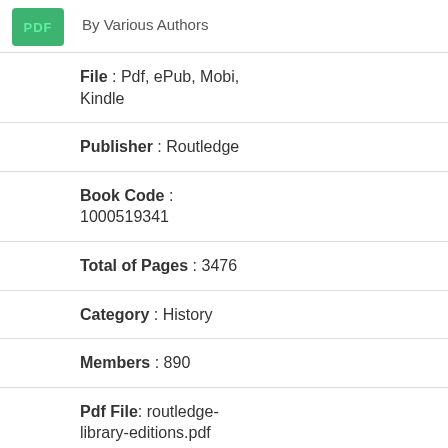[Figure (logo): Green PDF badge/button]
By Various Authors
File : Pdf, ePub, Mobi, Kindle
Publisher : Routledge
Book Code : 1000519341
Total of Pages : 3476
Category : History
Members : 890
Pdf File: routledge-library-editions.pdf